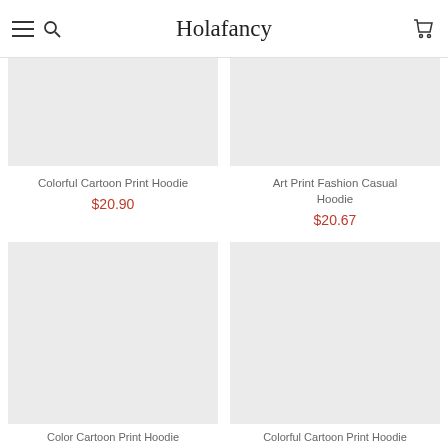Holafancy
[Figure (photo): Product image placeholder for Colorful Cartoon Print Hoodie (top left)]
Colorful Cartoon Print Hoodie
$20.90
[Figure (photo): Product image placeholder for Art Print Fashion Casual Hoodie (top right)]
Art Print Fashion Casual Hoodie
$20.67
[Figure (photo): Product image placeholder (bottom left)]
Color Cartoon Print Hoodie
[Figure (photo): Product image placeholder (bottom right)]
Colorful Cartoon Print Hoodie